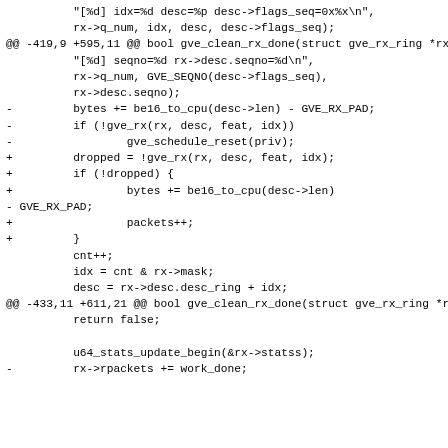Code diff showing changes to gve_clean_rx_done function in a Linux kernel driver, including modifications to byte counting and packet dropping logic.